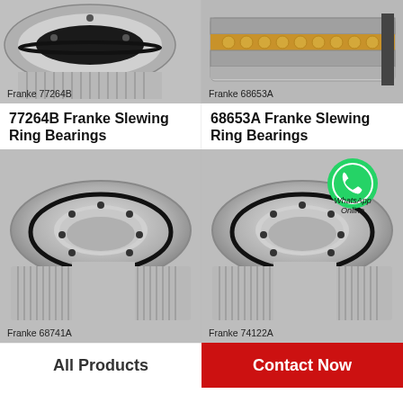[Figure (photo): Franke 77264B slewing ring bearing, top-down view showing gear teeth and bolt holes, gray metallic]
Franke 77264B
[Figure (photo): Franke 68653A slewing ring bearing cross-section view showing ball bearing rows and internal structure]
Franke 68653A
77264B Franke Slewing Ring Bearings
68653A Franke Slewing Ring Bearings
[Figure (photo): Franke 68741A slewing ring bearing full view with gear teeth around outer edge and bolt holes]
Franke 68741A
[Figure (photo): Franke 74122A slewing ring bearing full view with gear teeth around outer edge and WhatsApp Online overlay]
Franke 74122A
All Products
Contact Now